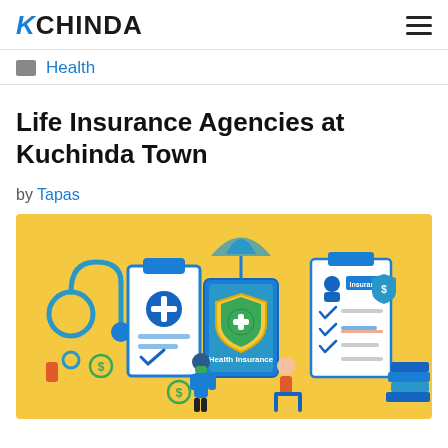KCHINDA
Health
Life Insurance Agencies at Kuchinda Town
by Tapas
[Figure (illustration): Health and life insurance illustration on yellow/gold background featuring a stethoscope, clipboard with medical cross, shield with cross labeled 'Health Insurance', insurance document checklist, teal location pin with cross, dollar sign icons, a person in mask presenting, a seated person, and stacked books.]